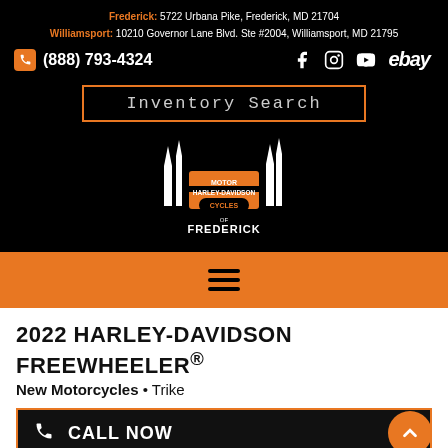Frederick: 5722 Urbana Pike, Frederick, MD 21704
Williamsport: 10210 Governor Lane Blvd. Ste #2004, Williamsport, MD 21795
(888) 793-4324
[Figure (logo): Harley-Davidson of Frederick logo with city skyline silhouette]
Inventory Search
2022 HARLEY-DAVIDSON FREEWHEELER®
New Motorcycles • Trike
CALL NOW
MSRP $28,499